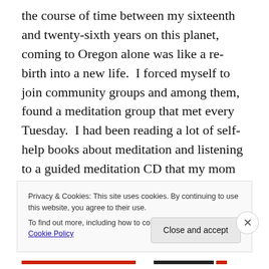the course of time between my sixteenth and twenty-sixth years on this planet, coming to Oregon alone was like a re-birth into a new life.  I forced myself to join community groups and among them, found a meditation group that met every Tuesday.  I had been reading a lot of self-help books about meditation and listening to a guided meditation CD that my mom gifted me with before I made my trek from the Midwest to the West Coast.  At the Tuesday night meditation group, I learned so much more about meditation and am forever grateful for the veteran teacher that created the group.
Privacy & Cookies: This site uses cookies. By continuing to use this website, you agree to their use.
To find out more, including how to control cookies, see here: Cookie Policy